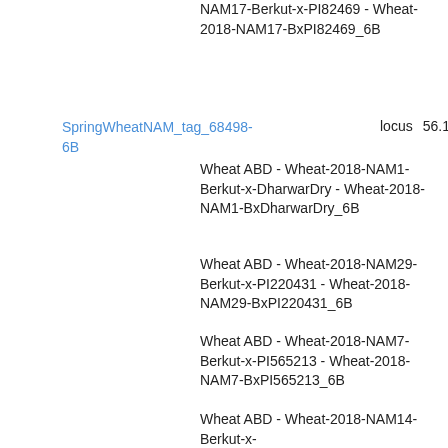SpringWheatNAM_tag_68498-6B
locus   56.1
NAM17-Berkut-x-PI82469 - Wheat-2018-NAM17-BxPI82469_6B
Wheat ABD - Wheat-2018-NAM1-Berkut-x-DharwarDry - Wheat-2018-NAM1-BxDharwarDry_6B
Wheat ABD - Wheat-2018-NAM29-Berkut-x-PI220431 - Wheat-2018-NAM29-BxPI220431_6B
Wheat ABD - Wheat-2018-NAM7-Berkut-x-PI565213 - Wheat-2018-NAM7-BxPI565213_6B
Wheat ABD - Wheat-2018-NAM14-Berkut-x-...